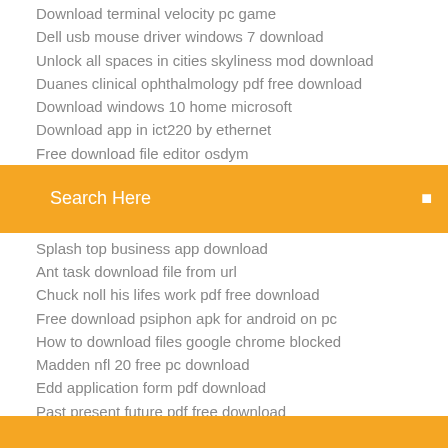Download terminal velocity pc game
Dell usb mouse driver windows 7 download
Unlock all spaces in cities skyliness mod download
Duanes clinical ophthalmology pdf free download
Download windows 10 home microsoft
Download app in ict220 by ethernet
Free download file editor osdym
Search Here
Splash top business app download
Ant task download file from url
Chuck noll his lifes work pdf free download
Free download psiphon apk for android on pc
How to download files google chrome blocked
Madden nfl 20 free pc download
Edd application form pdf download
Past present future pdf free download